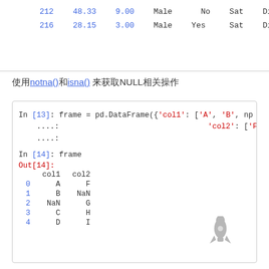|  | total_bill | tip | sex | smoker | day | time |
| --- | --- | --- | --- | --- | --- | --- |
| 212 | 48.33 | 9.00 | Male | No | Sat | Dinner |
| 216 | 28.15 | 3.00 | Male | Yes | Sat | Dinner |
使用notna()和isna()来获取NULL相关操作
In [13]: frame = pd.DataFrame({'col1': ['A', 'B', np
    ....:                                 'col2': ['F', np.NaN,
    ....
In [14]: frame
Out[14]:
   col1 col2
0     A    F
1     B  NaN
2   NaN    G
3     C    H
4     D    I